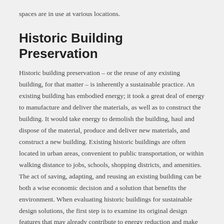spaces are in use at various locations.
Historic Building Preservation
Historic building preservation – or the reuse of any existing building, for that matter – is inherently a sustainable practice. An existing building has embodied energy; it took a great deal of energy to manufacture and deliver the materials, as well as to construct the building. It would take energy to demolish the building, haul and dispose of the material, produce and deliver new materials, and construct a new building. Existing historic buildings are often located in urban areas, convenient to public transportation, or within walking distance to jobs, schools, shopping districts, and amenities. The act of saving, adapting, and reusing an existing building can be both a wise economic decision and a solution that benefits the environment. When evaluating historic buildings for sustainable design solutions, the first step is to examine its original design features that may already contribute to energy reduction and make sure they continue to work. Operable shutters, both exterior and interior, were common to many historic buildings. They block the sun's heat during long summer days. Outside awnings also shade windows from